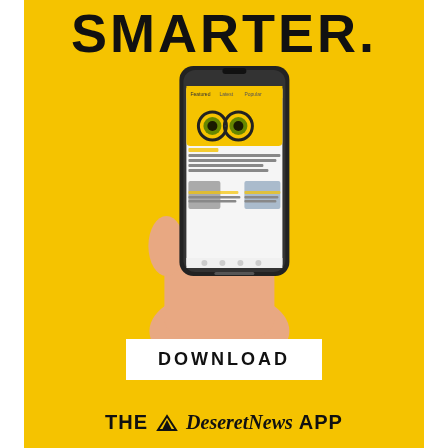SMARTER.
[Figure (illustration): A hand holding a smartphone displaying the Deseret News app with yellow background, articles, and navigation tabs]
DOWNLOAD
THE Deseret News APP